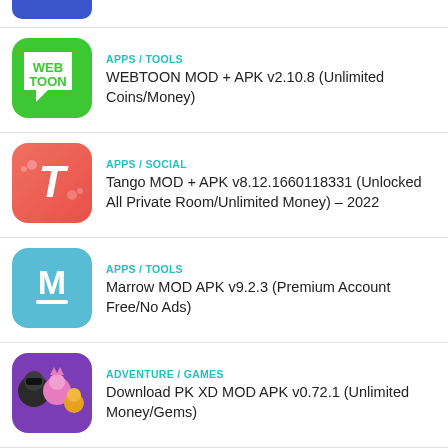APPS / TOOLS — WEBTOON MOD + APK v2.10.8 (Unlimited Coins/Money)
APPS / SOCIAL — Tango MOD + APK v8.12.1660118331 (Unlocked All Private Room/Unlimited Money) – 2022
APPS / TOOLS — Marrow MOD APK v9.2.3 (Premium Account Free/No Ads)
ADVENTURE / GAMES — Download PK XD MOD APK v0.72.1 (Unlimited Money/Gems)
BOARD / GAMES